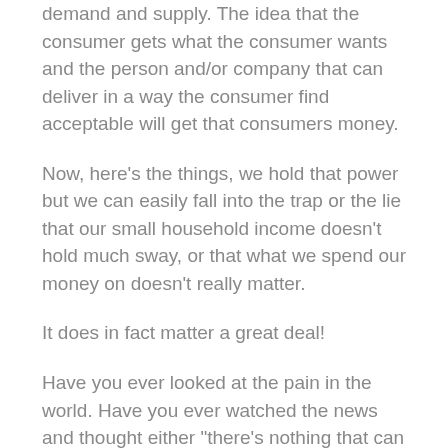demand and supply. The idea that the consumer gets what the consumer wants and the person and/or company that can deliver in a way the consumer find acceptable will get that consumers money.
Now, here’s the things, we hold that power but we can easily fall into the trap or the lie that our small household income doesn’t hold much sway, or that what we spend our money on doesn’t really matter.
It does in fact matter a great deal!
Have you ever looked at the pain in the world. Have you ever watched the news and thought either “there’s nothing that can be done it’s too much!” or “I wish I had a way to be a part of solution”?
Well my friends, you do!
Use that financial power you possess and use it to change how and what the profits you are making is